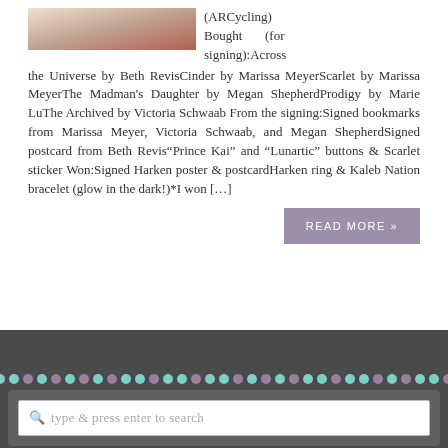[Figure (photo): Partial cropped photo showing figures, top of card]
(ARCycling) Bought (for signing):Across the Universe by Beth RevisCinder by Marissa MeyerScarlet by Marissa MeyerThe Madman's Daughter by Megan ShepherdProdigy by Marie LuThe Archived by Victoria Schwaab From the signing:Signed bookmarks from Marissa Meyer, Victoria Schwaab, and Megan ShepherdSigned postcard from Beth Revis"Prince Kai" and "Lunartic" buttons & Scarlet sticker Won:Signed Harken poster & postcardHarken ring & Kaleb Nation bracelet (glow in the dark!)*I won [...]
READ MORE »
[Figure (illustration): Row of alternating teal and purple dots decorative divider]
type & press enter to search